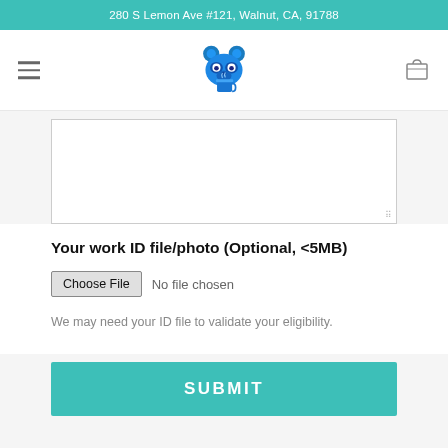280 S Lemon Ave #121, Walnut, CA, 91788
[Figure (logo): Blue raccoon mascot logo holding a coffee cup, centered in navigation bar. Hamburger menu icon on left, shopping bag icon on right.]
[Figure (screenshot): Text area input field (empty, with resize handle at bottom right)]
Your work ID file/photo (Optional, <5MB)
Choose File  No file chosen
We may need your ID file to validate your eligibility.
SUBMIT